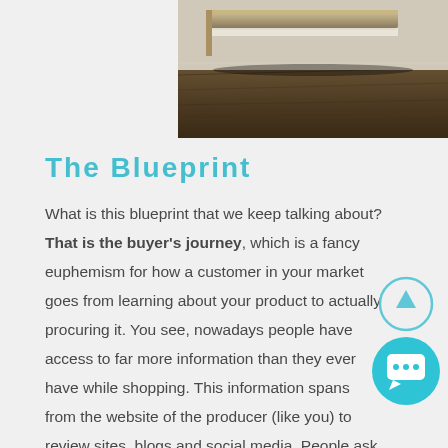[Figure (photo): Close-up photo of stacked books with wooden covers on a wooden surface, viewed from above at an angle, showing spines and edges.]
The Blueprint
What is this blueprint that we keep talking about? That is the buyer's journey, which is a fancy euphemism for how a customer in your market goes from learning about your product to actually procuring it. You see, nowadays people have access to far more information than they ever have while shopping. This information spans from the website of the producer (like you) to review sites, blogs and social media. People ask lots of questions to uncle